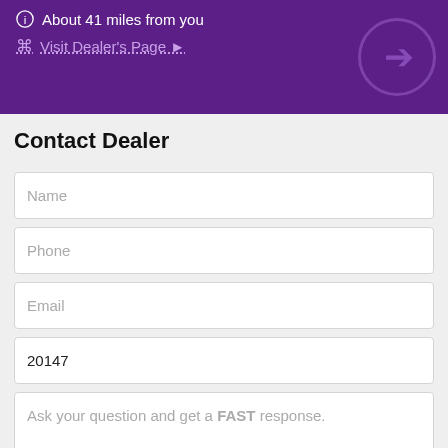About 41 miles from you
Visit Dealer's Page
Contact Dealer
Name
Phone
Email
20147
Ask your question and get a FAST response.